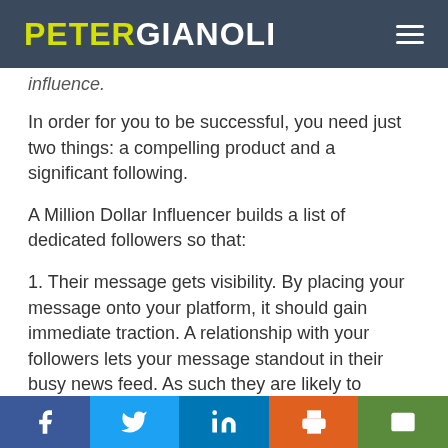PETER GIANOLI
influence.
In order for you to be successful, you need just two things: a compelling product and a significant following.
A Million Dollar Influencer builds a list of dedicated followers so that:
1. Their message gets visibility. By placing your message onto your platform, it should gain immediate traction. A relationship with your followers lets your message standout in their busy news feed. As such they are likely to devote some time to your message.
Social share bar: Facebook, Twitter, LinkedIn, Print, Email